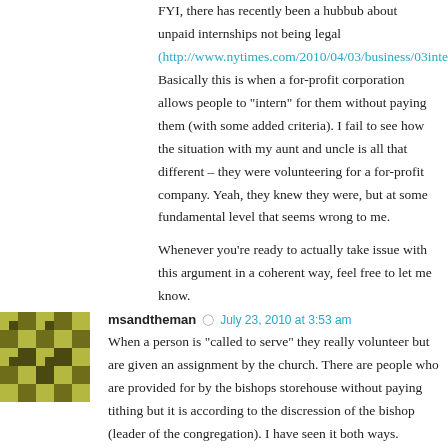FYI, there has recently been a hubbub about unpaid internships not being legal (http://www.nytimes.com/2010/04/03/business/03intern.html). Basically this is when a for-profit corporation allows people to "intern" for them without paying them (with some added criteria). I fail to see how the situation with my aunt and uncle is all that different – they were volunteering for a for-profit company. Yeah, they knew they were, but at some fundamental level that seems wrong to me.

Whenever you're ready to actually take issue with this argument in a coherent way, feel free to let me know.
msandtheman  July 23, 2010 at 3:53 am
When a person is "called to serve" they really volunteer but are given an assignment by the church. There are people who are provided for by the bishops storehouse without paying tithing but it is according to the discression of the bishop (leader of the congregation). I have seen it both ways. Remember, all leaders